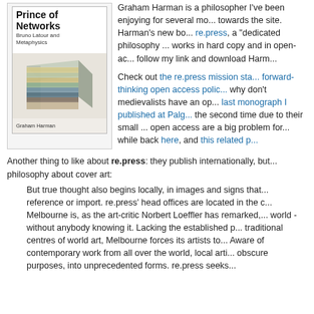[Figure (photo): Book cover of 'Prince of Networks: Bruno Latour and Metaphysics' by Graham Harman, showing a layered geological/abstract cube object on a white background.]
Graham Harman is a philosopher I've been enjoying for several months ... towards the site. Harman's new book is published by re.press, a "dedicated philosophy" ... works in hard copy and in open-access ... follow my link and download Harm...
Check out the re.press mission sta... forward-thinking open access polic... why don't medievalists have an op... last monograph I published at Palg... the second time due to their small ... open access are a big problem for... while back here, and this related p...
Another thing to like about re.press: they publish internationally, but... philosophy about cover art:
But true thought also begins locally, in images and signs that... reference or import. re.press' head offices are located in the c... Melbourne is, as the art-critic Norbert Loeffler has remarked,... world - without anybody knowing it. Lacking the established p... traditional centres of world art, Melbourne forces its artists to... Aware of contemporary work from all over the world, local arti... obscure purposes, into unprecedented forms. re.press seeks...